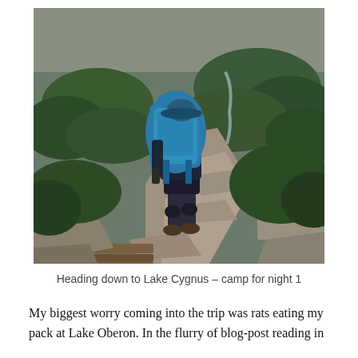[Figure (photo): A hiker carrying a large teal/blue backpack and wearing a blue hat, walking down a rocky mountain trail surrounded by low green shrubs and rocky terrain. The trail appears to be a natural stone path heading downward. Overcast sky visible in background.]
Heading down to Lake Cygnus – camp for night 1
My biggest worry coming into the trip was rats eating my pack at Lake Oberon. In the flurry of blog-post reading in